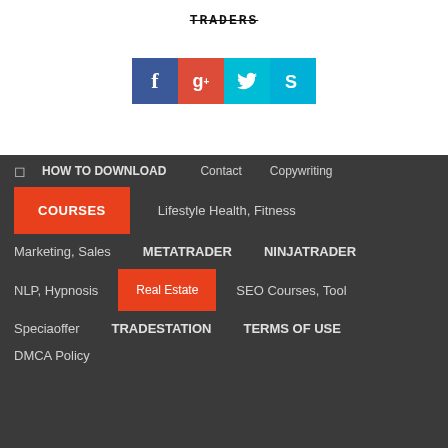[Figure (logo): Strikethrough text logo at top center]
[Figure (infographic): Social media icon buttons: Facebook (blue), Google+ (red), Twitter (cyan), Skype (light blue)]
HOW TO DOWNLOAD
Contact
Copywriting
COURSES
Lifestyle Health, Fitness
Marketing, Sales
METATRADER
NINJATRADER
NLP, Hypnosis
Real Estate
SEO Courses, Tool
Speciaoffer
TRADESTATION
TERMS OF USE
DMCA Policy